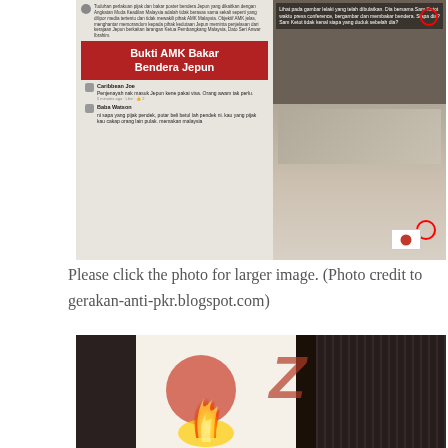[Figure (photo): Composite image showing Facebook posts about AMK (Angkatan Muda Keadilan) burning Japanese flag, with red banner text 'Bukti AMK Bakar Bendera Jepun', protest crowd photos with Japanese flags and red circles highlighting individuals]
Please click the photo for larger image. (Photo credit to gerakan-anti-pkr.blogspot.com)
[Figure (photo): Close-up photo of a Japanese flag (white with red circle) being burned, with flames visible and dark background]